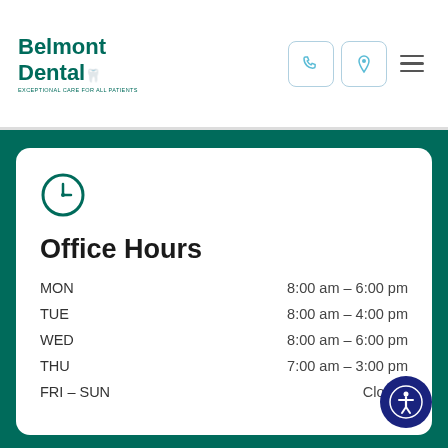Belmont Dental
Office Hours
| Day | Hours |
| --- | --- |
| MON | 8:00 am - 6:00 pm |
| TUE | 8:00 am - 4:00 pm |
| WED | 8:00 am - 6:00 pm |
| THU | 7:00 am - 3:00 pm |
| FRI - SUN | Closed |